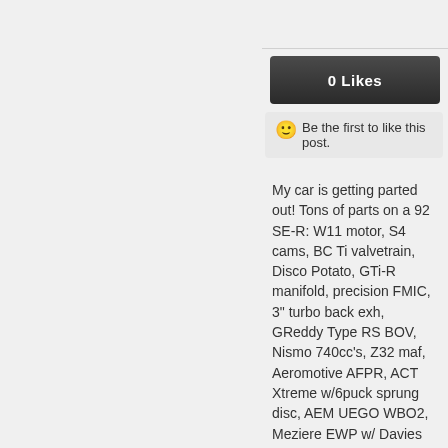0 Likes
Be the first to like this post.
My car is getting parted out! Tons of parts on a 92 SE-R: W11 motor, S4 cams, BC Ti valvetrain, Disco Potato, GTi-R manifold, precision FMIC, 3" turbo back exh, GReddy Type RS BOV, Nismo 740cc's, Z32 maf, Aeromotive AFPR, ACT Xtreme w/6puck sprung disc, AEM UEGO WBO2, Meziere EWP w/ Davies Craig controller. 18psi boost, Progress coilovers, progress rear sway, AD22V front brakes w/SS